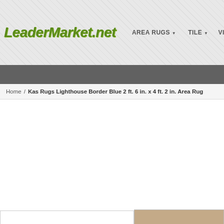LeaderMarket.net | AREA RUGS | TILE | VINYL FLOOR
Home / Kas Rugs Lighthouse Border Blue 2 ft. 6 in. x 4 ft. 2 in. Area Rug
[Figure (photo): Partial view of a rug product photo in the bottom right corner]